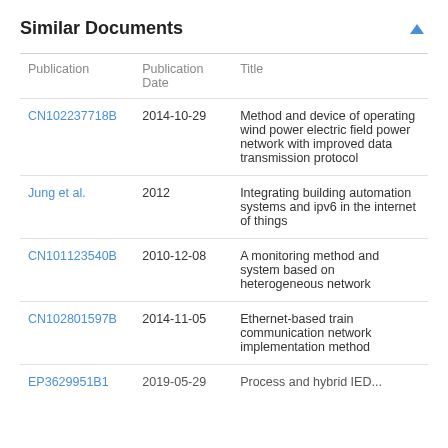Similar Documents
| Publication | Publication Date | Title |
| --- | --- | --- |
| CN102237718B | 2014-10-29 | Method and device of operating wind power electric field power network with improved data transmission protocol |
| Jung et al. | 2012 | Integrating building automation systems and ipv6 in the internet of things |
| CN101123540B | 2010-12-08 | A monitoring method and system based on heterogeneous network |
| CN102801597B | 2014-11-05 | Ethernet-based train communication network implementation method |
| EP3629951B1 | 2019-05-29 | Process and hybrid IED... |